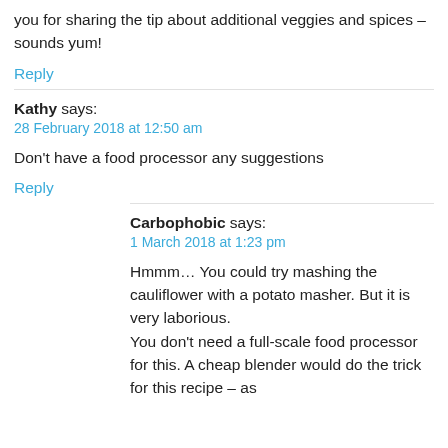you for sharing the tip about additional veggies and spices – sounds yum!
Reply
Kathy says:
28 February 2018 at 12:50 am
Don't have a food processor any suggestions
Reply
Carbophobic says:
1 March 2018 at 1:23 pm
Hmmm… You could try mashing the cauliflower with a potato masher. But it is very laborious. You don't need a full-scale food processor for this. A cheap blender would do the trick for this recipe – as